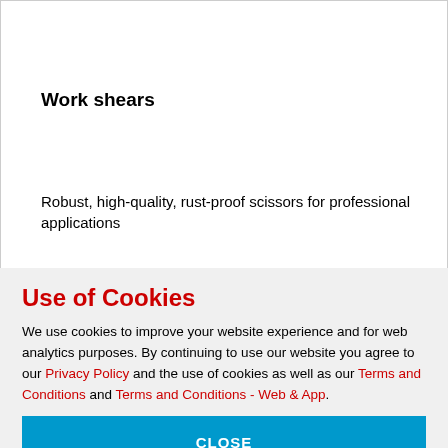Work shears
Robust, high-quality, rust-proof scissors for professional applications
Use of Cookies
We use cookies to improve your website experience and for web analytics purposes. By continuing to use our website you agree to our Privacy Policy and the use of cookies as well as our Terms and Conditions and Terms and Conditions - Web & App.
CLOSE